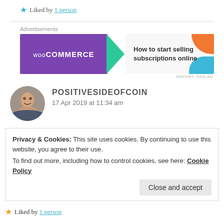★ Liked by 1 person
[Figure (illustration): WooCommerce advertisement banner: purple background with WooCommerce logo on left, teal arrow shape, and text 'How to start selling subscriptions online' on right with orange and blue decorative blobs.]
Advertisements
REPORT THIS AD
POSITIVESIDEOFCOIN
17 Apr 2019 at 11:34 am
Privacy & Cookies: This site uses cookies. By continuing to use this website, you agree to their use.
To find out more, including how to control cookies, see here: Cookie Policy
Close and accept
★ Liked by 1 person